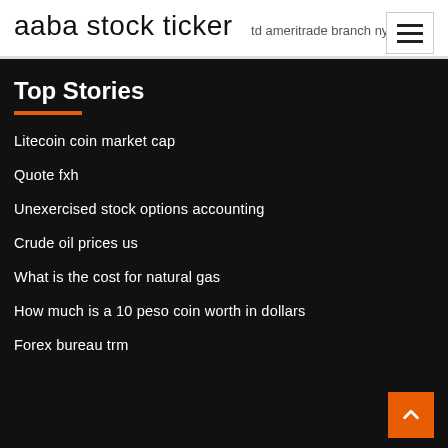aaba stock ticker
td ameritrade branch nyc
Top Stories
Litecoin coin market cap
Quote fxh
Unexercised stock options accounting
Crude oil prices us
What is the cost for natural gas
How much is a 10 peso coin worth in dollars
Forex bureau trm